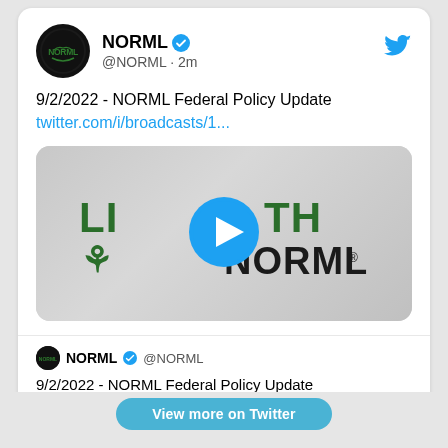[Figure (screenshot): Twitter/X tweet screenshot from NORML account (@NORML, 2 minutes ago) with tweet text '9/2/2022 - NORML Federal Policy Update twitter.com/i/broadcasts/1...' and an embedded video thumbnail showing the NORML 'Live with NORML' logo with a blue play button overlay. Below the video is a quoted tweet from @NORML saying '9/2/2022 - NORML Federal Policy Update', with comment and like action icons. At the bottom a 'View more on Twitter' blue button is partially visible.]